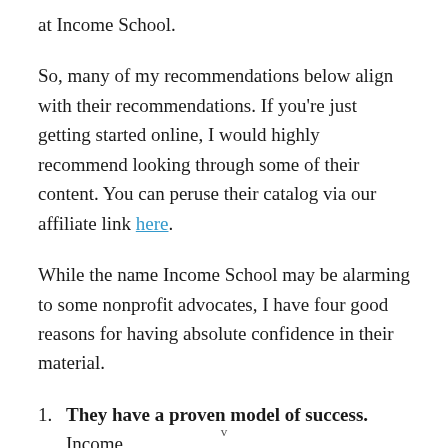at Income School.
So, many of my recommendations below align with their recommendations. If you're just getting started online, I would highly recommend looking through some of their content. You can peruse their catalog via our affiliate link here.
While the name Income School may be alarming to some nonprofit advocates, I have four good reasons for having absolute confidence in their material.
They have a proven model of success. Income